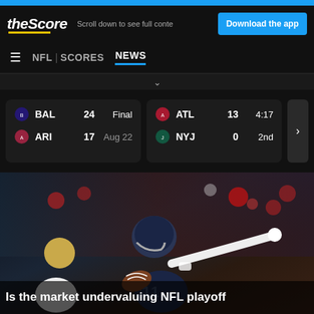theScore — Scroll down to see full content — Download the app
NFL | SCORES NEWS
BAL 24 Final | ARI 17 Aug 22 | ATL 13 4:17 | NYJ 0 2nd
[Figure (photo): NFL football player in dark blue uniform carrying a football and pointing, with opposing player in white 49ers uniform, crowd in background]
Is the market undervaluing NFL playoff...